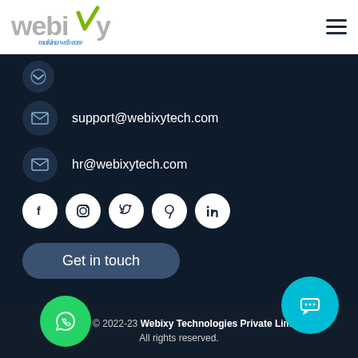[Figure (logo): Webixy logo with grey text and green checkmark, tagline 'making web easy' in blue italic]
support@webixytech.com
hr@webixytech.com
[Figure (infographic): Social media icons row: Facebook, Instagram, Twitter, Pinterest, LinkedIn — white circles on dark background]
Get in touch
Copyright © 2022-23 Webixy Technologies Private Limited All rights reserved.